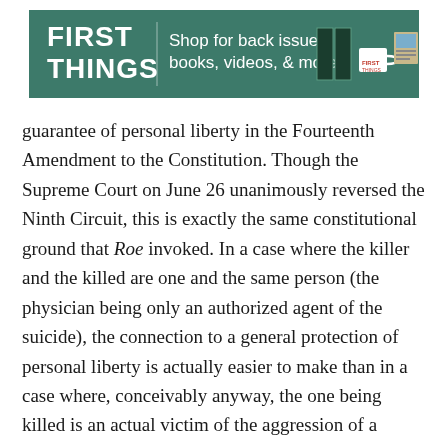[Figure (other): First Things advertisement banner with green background, showing 'FIRST THINGS' logo and text 'Shop for back issues, books, videos, & more.' with images of books, a mug, and a photo.]
guarantee of personal liberty in the Fourteenth Amendment to the Constitution. Though the Supreme Court on June 26 unanimously reversed the Ninth Circuit, this is exactly the same constitutional ground that Roe invoked. In a case where the killer and the killed are one and the same person (the physician being only an authorized agent of the suicide), the connection to a general protection of personal liberty is actually easier to make than in a case where, conceivably anyway, the one being killed is an actual victim of the aggression of a second party.
In the case of abortion there is a possible separation between criminal and victim, something punishable